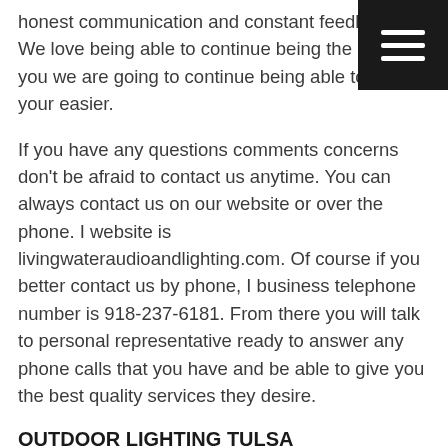honest communication and constant feedback. We love being able to continue being the best for you we are going to continue being able to make your easier.
If you have any questions comments concerns don't be afraid to contact us anytime. You can always contact us on our website or over the phone. I website is livingwateraudioandlighting.com. Of course if you better contact us by phone, I business telephone number is 918-237-6181. From there you will talk to personal representative ready to answer any phone calls that you have and be able to give you the best quality services they desire.
OUTDOOR LIGHTING TULSA
Our outdoor lighting Tulsa is here for you want to be able to continue being the best in the business. In fact we are the best family-owned and operated business need to give us a call today we can even schedule your